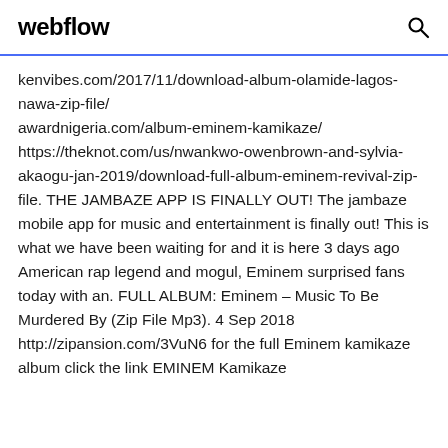webflow
kenvibes.com/2017/11/download-album-olamide-lagos-nawa-zip-file/ awardnigeria.com/album-eminem-kamikaze/ https://theknot.com/us/nwankwo-owenbrown-and-sylvia-akaogu-jan-2019/download-full-album-eminem-revival-zip-file. THE JAMBAZE APP IS FINALLY OUT! The jambaze mobile app for music and entertainment is finally out! This is what we have been waiting for and it is here 3 days ago American rap legend and mogul, Eminem surprised fans today with an. FULL ALBUM: Eminem – Music To Be Murdered By (Zip File Mp3). 4 Sep 2018 http://zipansion.com/3VuN6 for the full Eminem kamikaze album click the link EMINEM Kamikaze